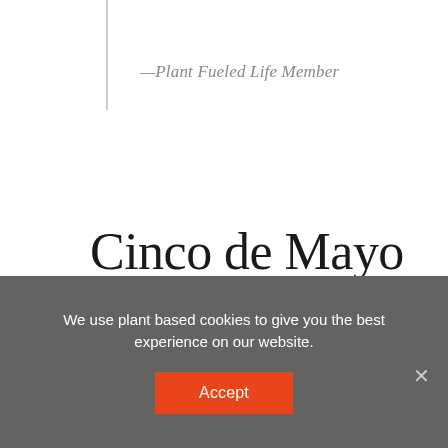—Plant Fueled Life Member
Cinco de Mayo Plant Based Meal Plan
We use plant based cookies to give you the best experience on our website.